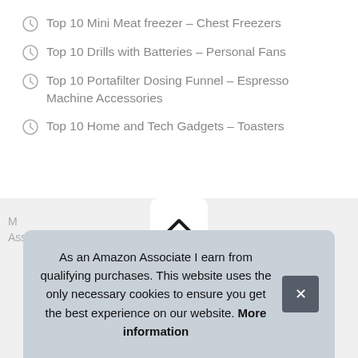Top 10 Mini Meat freezer – Chest Freezers
Top 10 Drills with Batteries – Personal Fans
Top 10 Portafilter Dosing Funnel – Espresso Machine Accessories
Top 10 Home and Tech Gadgets – Toasters
[Figure (other): Chevron/up arrow button on grey background]
As an Amazon Associate I earn from qualifying purchases. This website uses the only necessary cookies to ensure you get the best experience on our website. More information